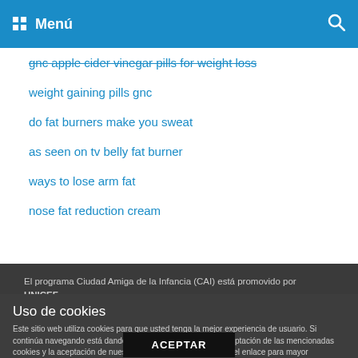Menú
gnc apple cider vinegar pills for weight loss
weight gaining pills gnc
do fat burners make you sweat
as seen on tv belly fat burner
ways to lose arm fat
nose fat reduction cream
El programa Ciudad Amiga de la Infancia (CAI) está promovido por UNICEF.
Para más información:
www.ciudadesamigas.org
Uso de cookies
Este sitio web utiliza cookies para que usted tenga la mejor experiencia de usuario. Si continúa navegando está dando su consentimiento para la aceptación de las mencionadas cookies y la aceptación de nuestra política de cookies, pinche el enlace para mayor información.
ACEPTAR